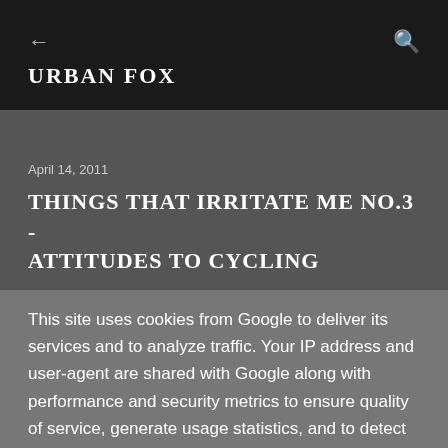← URBAN FOX 🔍
April 14, 2011
THINGS THAT IRRITATE ME NO.3 - ATTITUDES TO CYCLING
This site uses cookies from Google to deliver its services and to analyze traffic. Your IP address and user-agent are shared with Google along with performance and security metrics to ensure quality of service, generate usage statistics, and to detect and address abuse.
LEARN MORE   OK